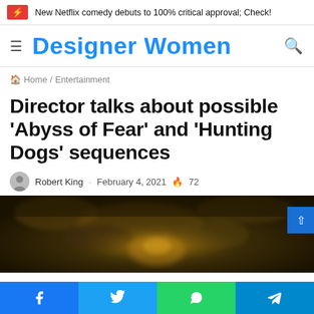New Netflix comedy debuts to 100% critical approval; Check!
Designer Women
Home / Entertainment
Director talks about possible 'Abyss of Fear' and 'Hunting Dogs' sequences
Robert King · February 4, 2021 🔥 72
[Figure (photo): Dark cinematic still image, appears to show a figure or face in dark browns and yellows, blurred/bokeh style]
Facebook · Twitter · WhatsApp · Telegram